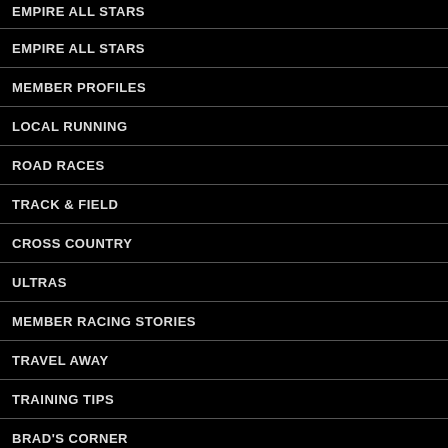EMPIRE ALL STARS
MEMBER PROFILES
LOCAL RUNNING
ROAD RACES
TRACK & FIELD
CROSS COUNTRY
ULTRAS
MEMBER RACING STORIES
TRAVEL AWAY
TRAINING TIPS
BRAD'S CORNER
THE LONG AND SHORT OF IT